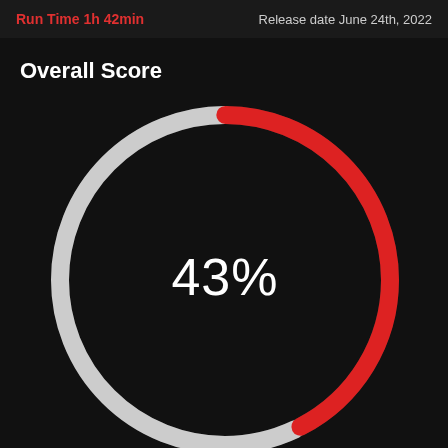Run Time 1h 42min    Release date June 24th, 2022
Overall Score
[Figure (donut-chart): Overall Score]